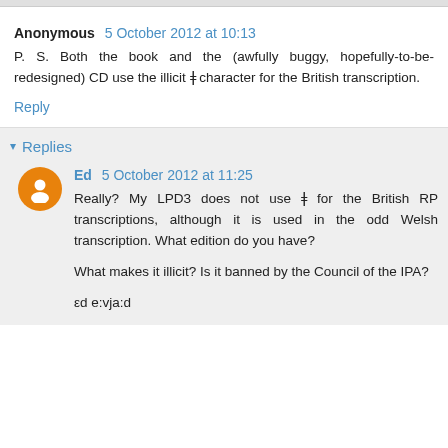Anonymous 5 October 2012 at 10:13
P. S. Both the book and the (awfully buggy, hopefully-to-be-redesigned) CD use the illicit ǂ character for the British transcription.
Reply
Replies
Ed 5 October 2012 at 11:25
Really? My LPD3 does not use ǂ for the British RP transcriptions, although it is used in the odd Welsh transcription. What edition do you have?

What makes it illicit? Is it banned by the Council of the IPA?

εd e:vja:d